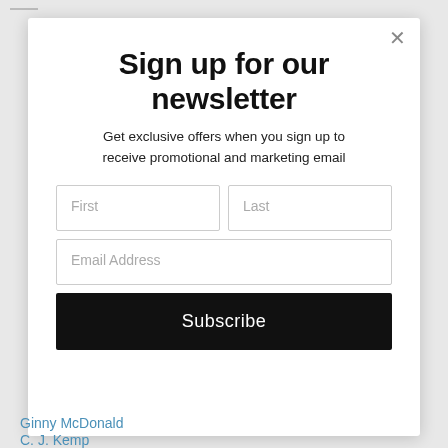Sign up for our newsletter
Get exclusive offers when you sign up to receive promotional and marketing email
First
Last
Email Address
Subscribe
Ginny McDonald
C. J. Kemp